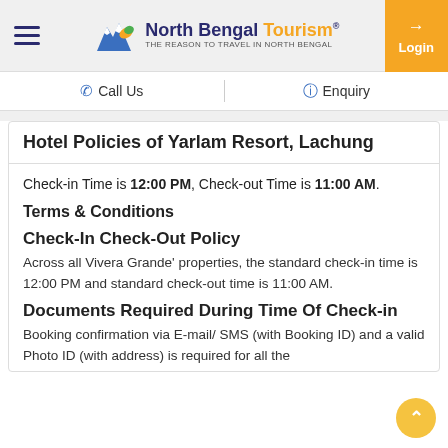North Bengal Tourism® — THE REASON TO TRAVEL IN NORTH BENGAL | Login
Call Us | Enquiry
Hotel Policies of Yarlam Resort, Lachung
Check-in Time is 12:00 PM, Check-out Time is 11:00 AM.
Terms & Conditions
Check-In Check-Out Policy
Across all Vivera Grande' properties, the standard check-in time is 12:00 PM and standard check-out time is 11:00 AM.
Documents Required During Time Of Check-in
Booking confirmation via E-mail/ SMS (with Booking ID) and a valid Photo ID (with address) is required for all the